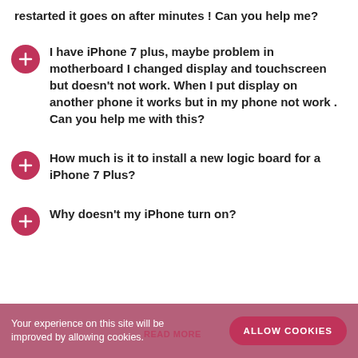restarted it goes on after minutes ! Can you help me?
I have iPhone 7 plus, maybe problem in motherboard I changed display and touchscreen but doesn't not work. When I put display on another phone it works but in my phone not work . Can you help me with this?
How much is it to install a new logic board for a iPhone 7 Plus?
Why doesn't my iPhone turn on?
Your experience on this site will be improved by allowing cookies.